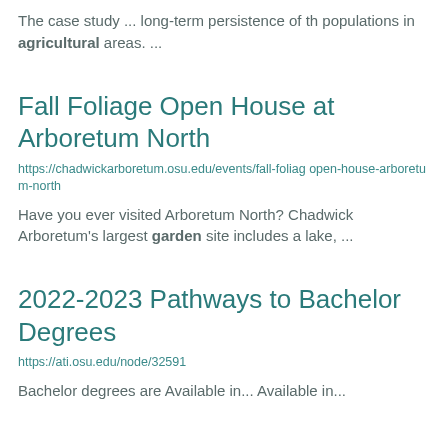The case study ... long-term persistence of the populations in agricultural areas. ...
Fall Foliage Open House at Arboretum North
https://chadwickarboretum.osu.edu/events/fall-foliage-open-house-arboretum-north
Have you ever visited Arboretum North? Chadwick Arboretum's largest garden site includes a lake, ...
2022-2023 Pathways to Bachelor Degrees
https://ati.osu.edu/node/32591
Bachelor degrees are Available in... Available in...